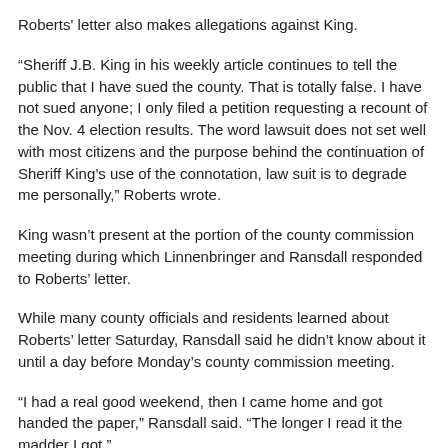Roberts' letter also makes allegations against King.
“Sheriff J.B. King in his weekly article continues to tell the public that I have sued the county. That is totally false. I have not sued anyone; I only filed a petition requesting a recount of the Nov. 4 election results. The word lawsuit does not set well with most citizens and the purpose behind the continuation of Sheriff King’s use of the connotation, law suit is to degrade me personally,” Roberts wrote.
King wasn’t present at the portion of the county commission meeting during which Linnenbringer and Ransdall responded to Roberts’ letter.
While many county officials and residents learned about Roberts’ letter Saturday, Ransdall said he didn’t know about it until a day before Monday’s county commission meeting.
“I had a real good weekend, then I came home and got handed the paper,” Ransdall said. “The longer I read it the madder I got.”
Ransdall said he put Saturday’s edition of the Daily Guide away for about half an hour to calm down, and then “got a highlighter and